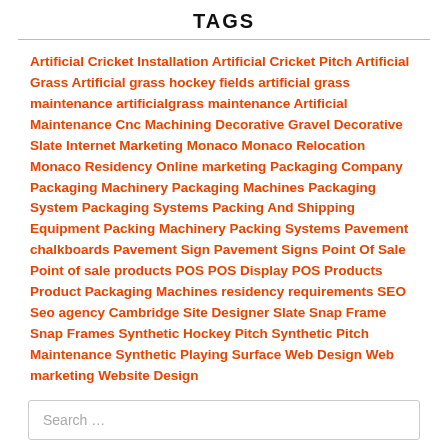TAGS
Artificial Cricket Installation Artificial Cricket Pitch Artificial Grass Artificial grass hockey fields artificial grass maintenance artificialgrass maintenance Artificial Maintenance Cnc Machining Decorative Gravel Decorative Slate Internet Marketing Monaco Monaco Relocation Monaco Residency Online marketing Packaging Company Packaging Machinery Packaging Machines Packaging System Packaging Systems Packing And Shipping Equipment Packing Machinery Packing Systems Pavement chalkboards Pavement Sign Pavement Signs Point Of Sale Point of sale products POS POS Display POS Products Product Packaging Machines residency requirements SEO Seo agency Cambridge Site Designer Slate Snap Frame Snap Frames Synthetic Hockey Pitch Synthetic Pitch Maintenance Synthetic Playing Surface Web Design Web marketing Website Design
Search …